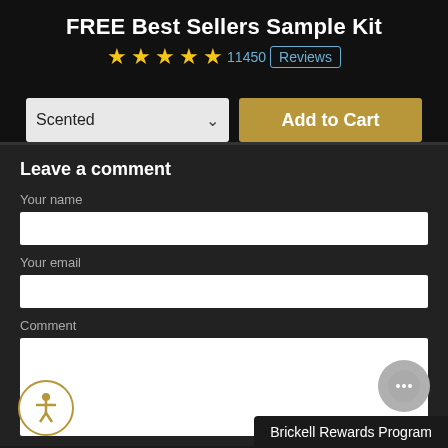FREE Best Sellers Sample Kit
★★★★★ 11450 Reviews
[Figure (screenshot): Scented dropdown selector and Add to Cart button]
Leave a comment
Your name
Your email
Comment
[Figure (illustration): Accessibility icon button (circular, gold border) at bottom left]
[Figure (illustration): Chat button (circular, gray) at bottom right with ellipsis]
Brickell Rewards Program